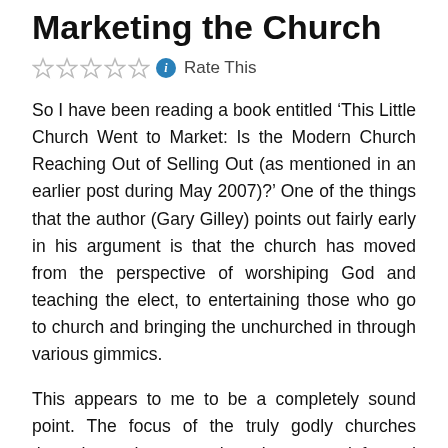Marketing the Church
Rate This
So I have been reading a book entitled ‘This Little Church Went to Market: Is the Modern Church Reaching Out of Selling Out (as mentioned in an earlier post during May 2007)?’ One of the things that the author (Gary Gilley) points out fairly early in his argument is that the church has moved from the perspective of worshiping God and teaching the elect, to entertaining those who go to church and bringing the unchurched in through various gimmics.
This appears to me to be a completely sound point. The focus of the truly godly churches throughout the ages has been on informed worship (in spirit and in truth), with a heavy focus on teaching true worshippers (those who are actually saved – the elect) about the God they are